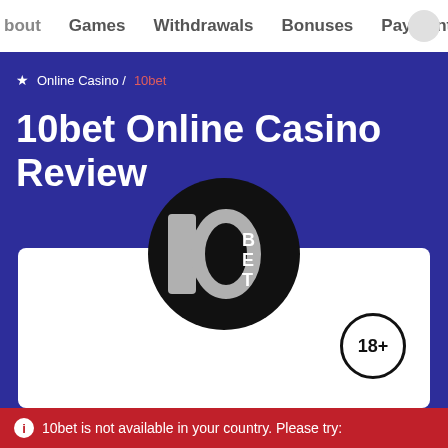bout   Games   Withdrawals   Bonuses   Payment
★ Online Casino / 10bet
10bet Online Casino Review
[Figure (logo): 10bet circular logo: black circle with a large '1' and '0' shape on the left in silver/gray and 'BET' text on the right in white]
[Figure (other): 18+ age restriction badge: black circle outline with '18+' text inside]
DEPOSIT METHODS
ℹ 10bet is not available in your country. Please try: